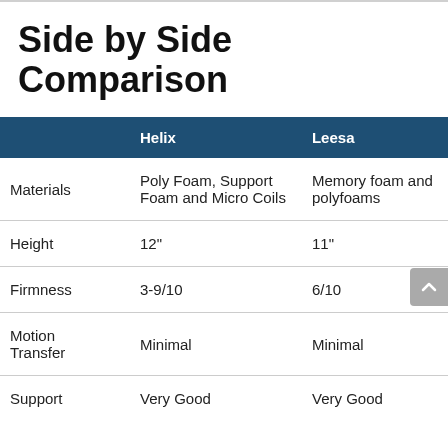Side by Side Comparison
|  | Helix | Leesa |
| --- | --- | --- |
| Materials | Poly Foam, Support Foam and Micro Coils | Memory foam and polyfoams |
| Height | 12" | 11" |
| Firmness | 3-9/10 | 6/10 |
| Motion Transfer | Minimal | Minimal |
| Support | Very Good | Very Good |